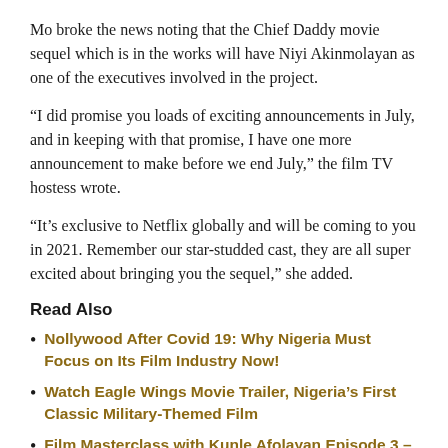Mo broke the news noting that the Chief Daddy movie sequel which is in the works will have Niyi Akinmolayan as one of the executives involved in the project.
“I did promise you loads of exciting announcements in July, and in keeping with that promise, I have one more announcement to make before we end July,” the film TV hostess wrote.
“It’s exclusive to Netflix globally and will be coming to you in 2021. Remember our star-studded cast, they are all super excited about bringing you the sequel,” she added.
Read Also
Nollywood After Covid 19: Why Nigeria Must Focus on Its Film Industry Now!
Watch Eagle Wings Movie Trailer, Nigeria’s First Classic Military-Themed Film
Film Masterclass with Kunle Afolayan Episode 3 – Preproduction